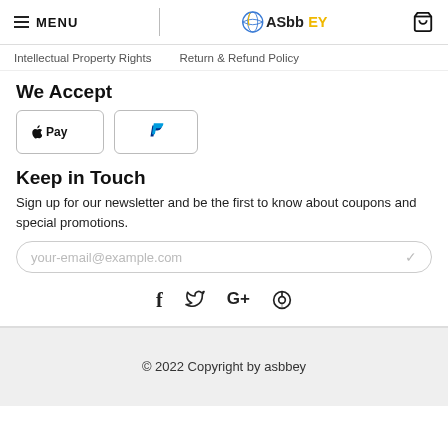MENU | ASBBEY [logo] [cart]
Intellectual Property Rights    Return & Refund Policy
We Accept
[Figure (other): Apple Pay and PayPal payment method buttons]
Keep in Touch
Sign up for our newsletter and be the first to know about coupons and special promotions.
your-email@example.com
[Figure (other): Social media icons: Facebook (f), Twitter (bird), Google+ (G+), Pinterest (P)]
© 2022 Copyright by asbbey